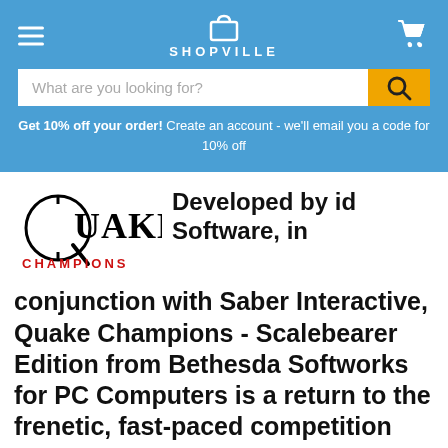SHOPVILLE
What are you looking for?
Get 10% off your order! Create an account - we'll email you a code for 10% off
[Figure (logo): Quake Champions logo with CHAMPIONS in red text]
Developed by id Software, in conjunction with Saber Interactive, Quake Champions - Scalebearer Edition from Bethesda Softworks for PC Computers is a return to the frenetic, fast-paced competition that established Quake as the